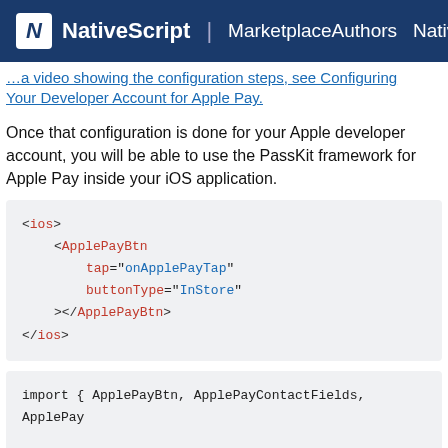NativeScript | MarketplaceAuthors NativeScript
…a video showing the configuration steps, see Configuring Your Developer Account for Apple Pay.
Once that configuration is done for your Apple developer account, you will be able to use the PassKit framework for Apple Pay inside your iOS application.
<ios>
    <ApplePayBtn
          tap="onApplePayTap"
          buttonType="InStore"
    ></ApplePayBtn>
</ios>
import { ApplePayBtn, ApplePayContactFields, ApplePay
export function onApplePayTap() {
    try {